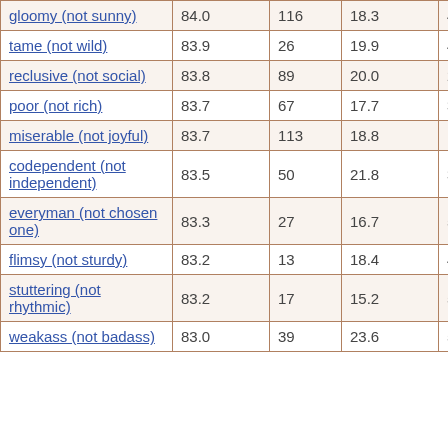| gloomy (not sunny) | 84.0 | 116 | 18.3 | 42 |
| tame (not wild) | 83.9 | 26 | 19.9 | 400 |
| reclusive (not social) | 83.8 | 89 | 20.0 | 219 |
| poor (not rich) | 83.7 | 67 | 17.7 | 335 |
| miserable (not joyful) | 83.7 | 113 | 18.8 | 120 |
| codependent (not independent) | 83.5 | 50 | 21.8 | 377 |
| everyman (not chosen one) | 83.3 | 27 | 16.7 | 50 |
| flimsy (not sturdy) | 83.2 | 13 | 18.4 | 49 |
| stuttering (not rhythmic) | 83.2 | 17 | 15.2 | 57 |
| weakass (not badass) | 83.0 | 39 | 23.6 | 50 |